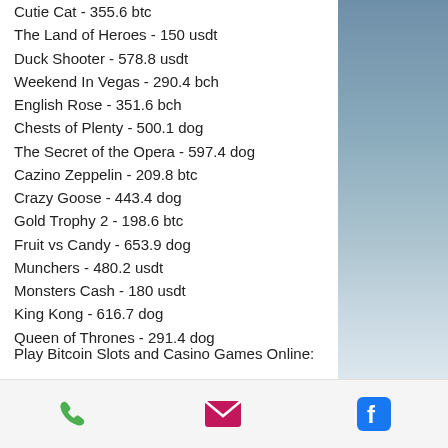Cutie Cat - 355.6 btc
The Land of Heroes - 150 usdt
Duck Shooter - 578.8 usdt
Weekend In Vegas - 290.4 bch
English Rose - 351.6 bch
Chests of Plenty - 500.1 dog
The Secret of the Opera - 597.4 dog
Cazino Zeppelin - 209.8 btc
Crazy Goose - 443.4 dog
Gold Trophy 2 - 198.6 btc
Fruit vs Candy - 653.9 dog
Munchers - 480.2 usdt
Monsters Cash - 180 usdt
King Kong - 616.7 dog
Queen of Thrones - 291.4 dog
Play Bitcoin Slots and Casino Games Online:
FortuneJack Casino Jason's Quest
[Figure (other): Bottom navigation bar with phone, email, and Facebook icons]